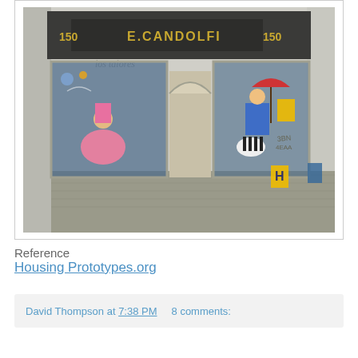[Figure (photo): Street-level photograph of a shop front with signage reading 'E CANDOLFI' and '150', with colorful window displays featuring toys and children's clothing including a pink dress figure, umbrella, and striped zebra toy. The storefront is on a cobblestone sidewalk.]
Reference
Housing Prototypes.org
David Thompson at 7:38 PM    8 comments: